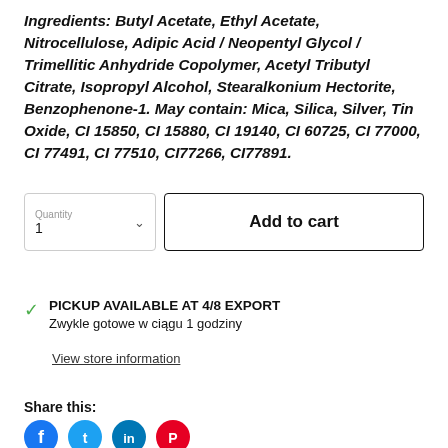Ingredients: Butyl Acetate, Ethyl Acetate, Nitrocellulose, Adipic Acid / Neopentyl Glycol / Trimellitic Anhydride Copolymer, Acetyl Tributyl Citrate, Isopropyl Alcohol, Stearalkonium Hectorite, Benzophenone-1. May contain: Mica, Silica, Silver, Tin Oxide, CI 15850, CI 15880, CI 19140, CI 60725, CI 77000, CI 77491, CI 77510, CI77266, CI77891.
Quantity 1 | Add to cart
PICKUP AVAILABLE AT 4/8 EXPORT
Zwykle gotowe w ciągu 1 godziny
View store information
Share this: